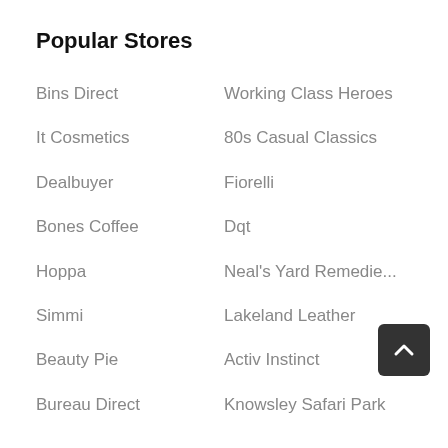Popular Stores
Bins Direct
Working Class Heroes
It Cosmetics
80s Casual Classics
Dealbuyer
Fiorelli
Bones Coffee
Dqt
Hoppa
Neal's Yard Remedie...
Simmi
Lakeland Leather
Beauty Pie
Activ Instinct
Bureau Direct
Knowsley Safari Park